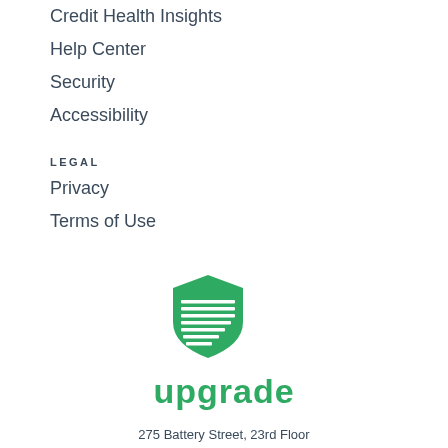Credit Health Insights
Help Center
Security
Accessibility
LEGAL
Privacy
Terms of Use
[Figure (logo): Upgrade logo: green shield icon with horizontal lines and the word 'upgrade' in green text below]
275 Battery Street, 23rd Floor
San Francisco, CA 94111, USA